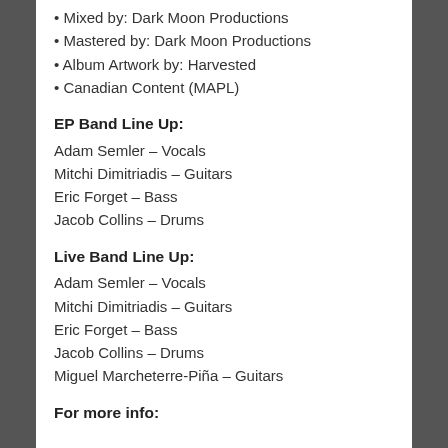• Mixed by: Dark Moon Productions
• Mastered by: Dark Moon Productions
• Album Artwork by: Harvested
• Canadian Content (MAPL)
EP Band Line Up:
Adam Semler – Vocals
Mitchi Dimitriadis – Guitars
Eric Forget – Bass
Jacob Collins – Drums
Live Band Line Up:
Adam Semler – Vocals
Mitchi Dimitriadis – Guitars
Eric Forget – Bass
Jacob Collins – Drums
Miguel Marcheterre-Piña – Guitars
For more info: